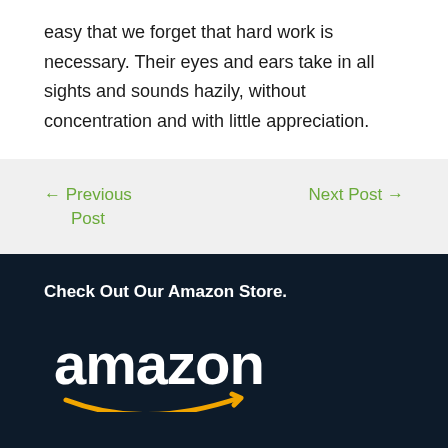easy that we forget that hard work is necessary. Their eyes and ears take in all sights and sounds hazily, without concentration and with little appreciation.
← Previous Post
Next Post →
Check Out Our Amazon Store.
[Figure (logo): Amazon logo: white 'amazon' text with orange arrow/smile underneath on dark navy background]